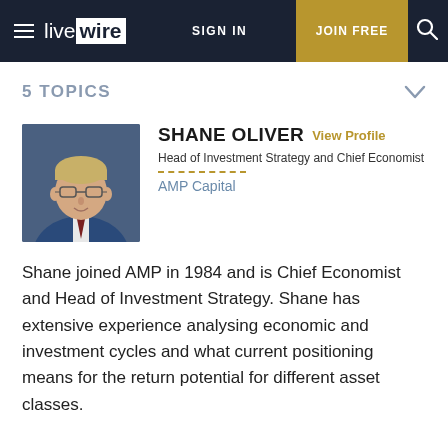live wire | SIGN IN | JOIN FREE
5 TOPICS
[Figure (photo): Headshot of Shane Oliver, a middle-aged man with blonde hair and glasses, wearing a blue suit and tie, against a dark blue background.]
SHANE OLIVER
View Profile
Head of Investment Strategy and Chief Economist
AMP Capital
Shane joined AMP in 1984 and is Chief Economist and Head of Investment Strategy. Shane has extensive experience analysing economic and investment cycles and what current positioning means for the return potential for different asset classes.